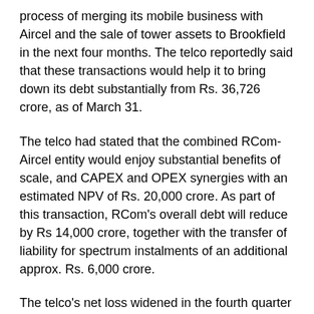process of merging its mobile business with Aircel and the sale of tower assets to Brookfield in the next four months. The telco reportedly said that these transactions would help it to bring down its debt substantially from Rs. 36,726 crore, as of March 31.
The telco had stated that the combined RCom-Aircel entity would enjoy substantial benefits of scale, and CAPEX and OPEX synergies with an estimated NPV of Rs. 20,000 crore. As part of this transaction, RCom's overall debt will reduce by Rs 14,000 crore, together with the transfer of liability for spectrum instalments of an additional approx. Rs. 6,000 crore.
The telco's net loss widened in the fourth quarter at Rs 966 crore from Rs 531 crore net loss in the previous quarter, due to free offers, disruptive pricing and hyper competition in the market.
"For the first time in over 20 years, the telecom sector